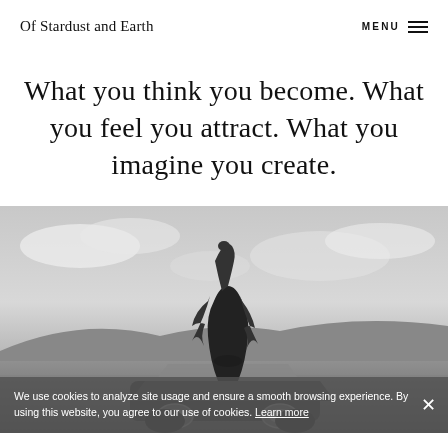Of Stardust and Earth   MENU
What you think you become. What you feel you attract. What you imagine you create.
[Figure (photo): Black and white photograph of a woman standing on top of a vintage car in a desert landscape, arm raised above her head, hair blowing in the wind. Cloudy sky in the background.]
We use cookies to analyze site usage and ensure a smooth browsing experience. By using this website, you agree to our use of cookies. Learn more